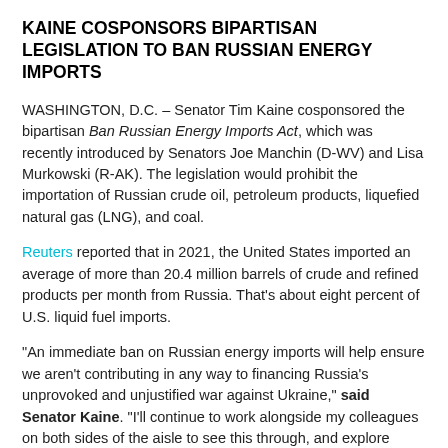KAINE COSPONSORS BIPARTISAN LEGISLATION TO BAN RUSSIAN ENERGY IMPORTS
WASHINGTON, D.C. – Senator Tim Kaine cosponsored the bipartisan Ban Russian Energy Imports Act, which was recently introduced by Senators Joe Manchin (D-WV) and Lisa Murkowski (R-AK). The legislation would prohibit the importation of Russian crude oil, petroleum products, liquefied natural gas (LNG), and coal.
Reuters reported that in 2021, the United States imported an average of more than 20.4 million barrels of crude and refined products per month from Russia. That's about eight percent of U.S. liquid fuel imports.
"An immediate ban on Russian energy imports will help ensure we aren't contributing in any way to financing Russia's unprovoked and unjustified war against Ukraine," said Senator Kaine. "I'll continue to work alongside my colleagues on both sides of the aisle to see this through, and explore other ways to restrict Russia's economy."